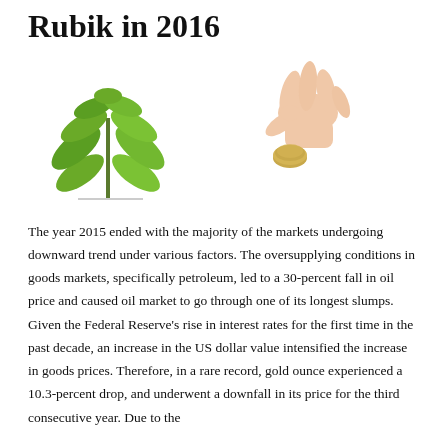Rubik in 2016
[Figure (illustration): A small green plant seedling (left) and a hand holding a coin (right), representing investment and growth.]
The year 2015 ended with the majority of the markets undergoing downward trend under various factors. The oversupplying conditions in goods markets, specifically petroleum, led to a 30-percent fall in oil price and caused oil market to go through one of its longest slumps. Given the Federal Reserve’s rise in interest rates for the first time in the past decade, an increase in the US dollar value intensified the increase in goods prices. Therefore, in a rare record, gold ounce experienced a 10.3-percent drop, and underwent a downfall in its price for the third consecutive year. Due to the